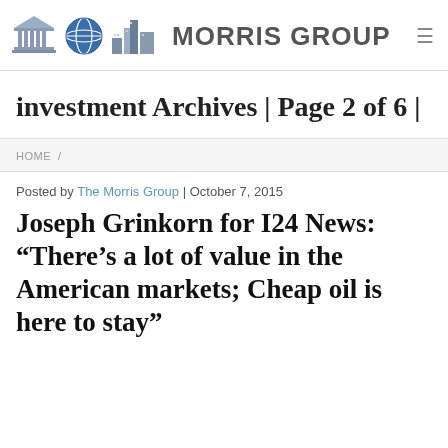[Figure (logo): Morris Group logo with icons: classical building, globe, city skyline, and text MORRIS GROUP]
investment Archives | Page 2 of 6 |
HOME /
Posted by The Morris Group | October 7, 2015
Joseph Grinkorn for I24 News: “There’s a lot of value in the American markets; Cheap oil is here to stay”